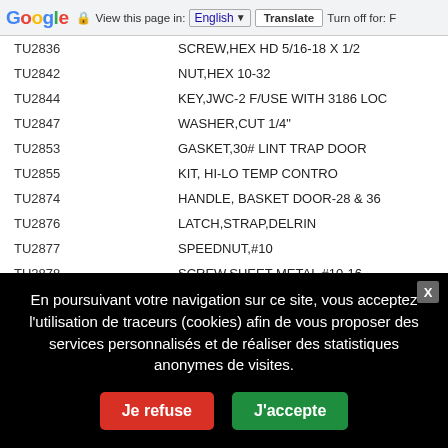Google  View this page in: English  Translate  Turn off for: F
| Part Number | Description |
| --- | --- |
| TU2836 | SCREW,HEX HD 5/16-18 X 1/2 |
| TU2842 | NUT,HEX 10-32 |
| TU2844 | KEY,JWC-2 F/USE WITH 3186 LOC |
| TU2847 | WASHER,CUT 1/4" |
| TU2853 | GASKET,30# LINT TRAP DOOR |
| TU2855 | KIT, HI-LO TEMP CONTRO |
| TU2874 | HANDLE, BASKET DOOR-28 & 36 |
| TU2876 | LATCH,STRAP,DELRIN |
| TU2877 | SPEEDNUT,#10 |
| TU2878 | SCREW,SHEET METAL #10-16 |
| TU2881 | NUT, HEX 5/8-18 |
| TU2882 | NUT, HEX 1/2-20 X 3/4" |
En poursuivant votre navigation sur ce site, vous acceptez l'utilisation de traceurs (cookies) afin de vous proposer des services personnalisés et de réaliser des statistiques anonymes de visites.
Je refuse
J'accepte